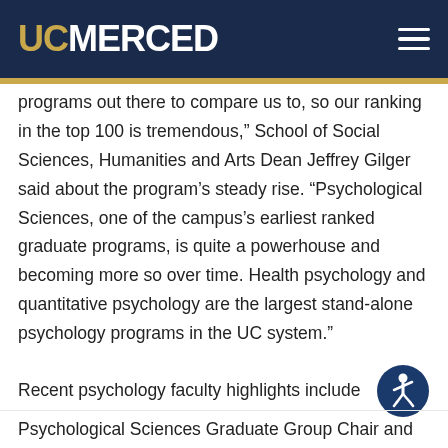UC MERCED
programs out there to compare us to, so our ranking in the top 100 is tremendous,” School of Social Sciences, Humanities and Arts Dean Jeffrey Gilger said about the program’s steady rise. “Psychological Sciences, one of the campus’s earliest ranked graduate programs, is quite a powerhouse and becoming more so over time. Health psychology and quantitative psychology are the largest stand-alone psychology programs in the UC system.”
Recent psychology faculty highlights include
Psychological Sciences Graduate Group Chair and